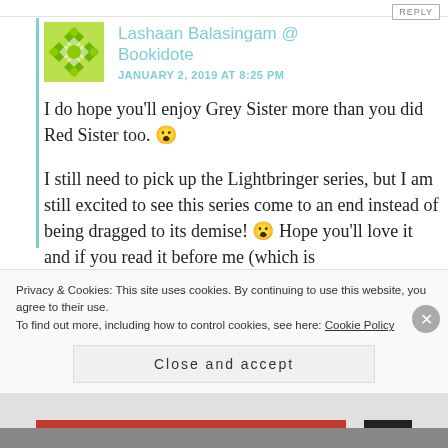REPLY
Lashaan Balasingam @ Bookidote
JANUARY 2, 2019 AT 8:25 PM
I do hope you'll enjoy Grey Sister more than you did Red Sister too. 😮
I still need to pick up the Lightbringer series, but I am still excited to see this series come to an end instead of being dragged to its demise! 😮 Hope you'll love it and if you read it before me (which is
Privacy & Cookies: This site uses cookies. By continuing to use this website, you agree to their use.
To find out more, including how to control cookies, see here: Cookie Policy
Close and accept